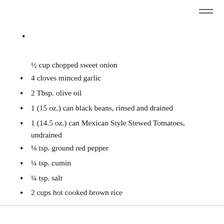½ cup chopped sweet onion
4 cloves minced garlic
2 Tbsp. olive oil
1 (15 oz.) can black beans, rinsed and drained
1 (14.5 oz.) can Mexican Style Stewed Tomatoes, undrained
⅛ tsp. ground red pepper
¼ tsp. cumin
¼ tsp. salt
2 cups hot cooked brown rice